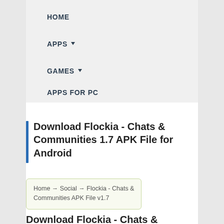HOME
APPS ▾
GAMES ▾
APPS FOR PC
Download Flockia - Chats & Communities 1.7 APK File for Android
Home → Social → Flockia - Chats & Communities APK File v1.7
Download Flockia - Chats &